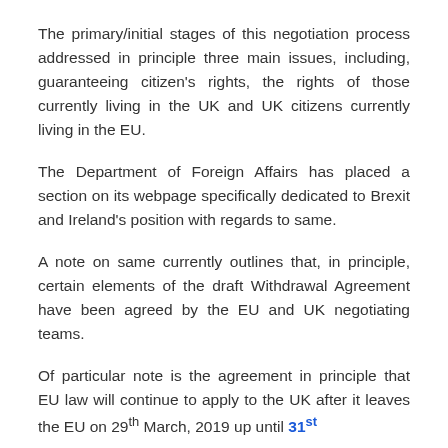The primary/initial stages of this negotiation process addressed in principle three main issues, including, guaranteeing citizen's rights, the rights of those currently living in the UK and UK citizens currently living in the EU.
The Department of Foreign Affairs has placed a section on its webpage specifically dedicated to Brexit and Ireland's position with regards to same.
A note on same currently outlines that, in principle, certain elements of the draft Withdrawal Agreement have been agreed by the EU and UK negotiating teams.
Of particular note is the agreement in principle that EU law will continue to apply to the UK after it leaves the EU on 29th March, 2019 up until 31st